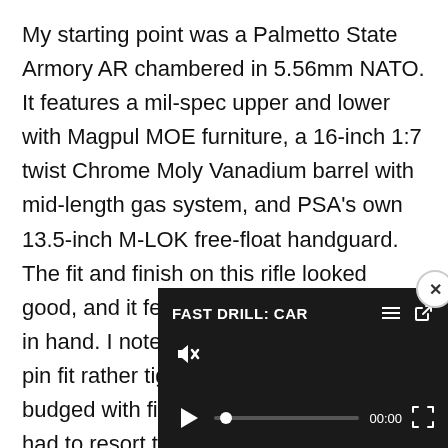My starting point was a Palmetto State Armory AR chambered in 5.56mm NATO. It features a mil-spec upper and lower with Magpul MOE furniture, a 16-inch 1:7 twist Chrome Moly Vanadium barrel with mid-length gas system, and PSA's own 13.5-inch M-LOK free-float handguard. The fit and finish on this rifle looked good, and it felt light and maneuverable in hand. I noted that the rear takedown pin fit rather tightly, and could not be budged with fingers or a loose round, so I had to resort to using a multi-tool to push it through the receiver. Thankfully, this in use and lubrication. I also rifle that the castle nut had but a quick turn of an armo
[Figure (screenshot): Video player overlay with dark background showing 'FAST DRILL: CAR' title, mute icon, play button, progress bar at 00:00, and fullscreen icon. A close (x) button appears in top-right corner.]